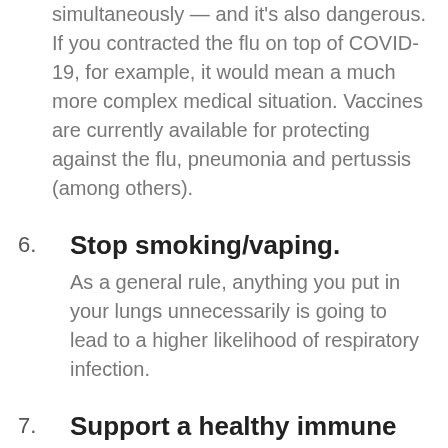simultaneously — and it's also dangerous. If you contracted the flu on top of COVID-19, for example, it would mean a much more complex medical situation. Vaccines are currently available for protecting against the flu, pneumonia and pertussis (among others).
6. Stop smoking/vaping. As a general rule, anything you put in your lungs unnecessarily is going to lead to a higher likelihood of respiratory infection.
7. Support a healthy immune system. Eating healthy is important. A healthy gut...